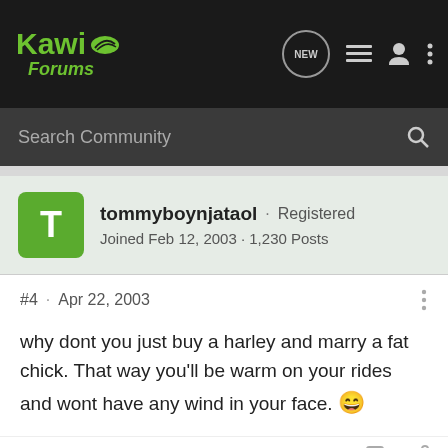Kawi Forums
Search Community
tommyboynjataol · Registered
Joined Feb 12, 2003 · 1,230 Posts
#4 · Apr 22, 2003
why dont you just buy a harley and marry a fat chick. That way you'll be warm on your rides and wont have any wind in your face. 😄